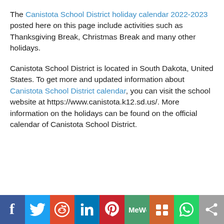The Canistota School District holiday calendar 2022-2023 posted here on this page include activities such as Thanksgiving Break, Christmas Break and many other holidays.
Canistota School District is located in South Dakota, United States. To get more and updated information about Canistota School District calendar, you can visit the school website at https://www.canistota.k12.sd.us/. More information on the holidays can be found on the official calendar of Canistota School District.
[Figure (infographic): Social media sharing bar with icons for Facebook, Twitter, Reddit, LinkedIn, Pinterest, MeWe, Mix, WhatsApp, and a share button]